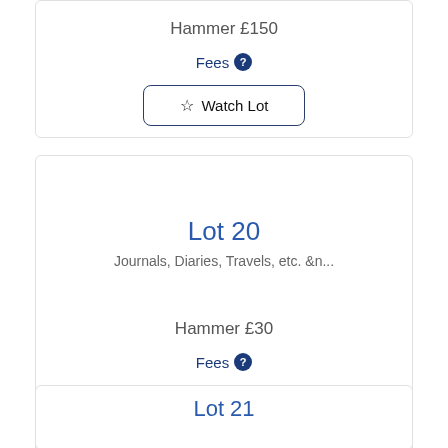Hammer £150
Fees ℹ
☆ Watch Lot
Lot 20
Journals, Diaries, Travels, etc. &n...
Hammer £30
Fees ℹ
☆ Watch Lot
Lot 21